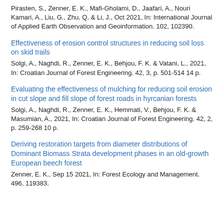Pirasten, S., Zenner, E. K., Mafi-Gholami, D., Jaafari, A., Nouri Kamari, A., Liu, G., Zhu, Q. & Li, J., Oct 2021, In: International Journal of Applied Earth Observation and Geoinformation. 102, 102390.
Effectiveness of erosion control structures in reducing soil loss on skid trails
Solgi, A., Naghdi, R., Zenner, E. K., Behjou, F. K. & Vatani, L., 2021, In: Croatian Journal of Forest Engineering. 42, 3, p. 501-514 14 p.
Evaluating the effectiveness of mulching for reducing soil erosion in cut slope and fill slope of forest roads in hyrcanian forests
Solgi, A., Naghdi, R., Zenner, E. K., Hemmati, V., Behjou, F. K. & Masumian, A., 2021, In: Croatian Journal of Forest Engineering. 42, 2, p. 259-268 10 p.
Deriving restoration targets from diameter distributions of Dominant Biomass Strata development phases in an old-growth European beech forest
Zenner, E. K., Sep 15 2021, In: Forest Ecology and Management. 496, 119383.